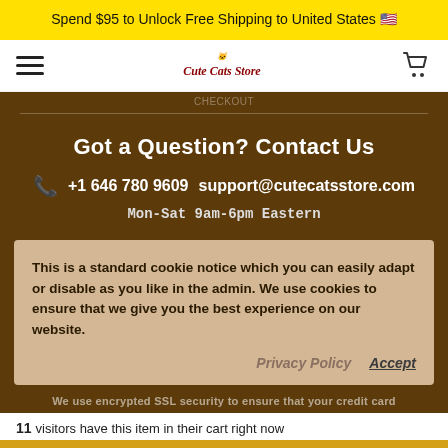Spend $95 to Unlock Free Shipping to United States 🇺🇸
[Figure (screenshot): Navigation bar with hamburger menu icon, Cute Cats Store logo, and shopping cart icon]
Got a Question? Contact Us
+1 646 780 9609  support@cutecatsstore.com
Mon-Sat 9am-6pm Eastern
This is a standard cookie notice which you can easily adapt or disable as you like in the admin. We use cookies to ensure that we give you the best experience on our website.
Privacy Policy   Accept
We use encrypted SSL security to ensure that your credit card
11 visitors have this item in their cart right now
Rewards
Cart   + Buy Now